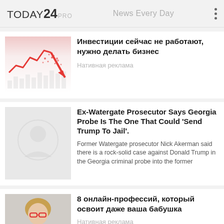TODAY 24 PRO — News Every Day
[Figure (illustration): Stock market decline chart with red downward arrow and scattered red dots on white/pink gradient background]
Инвестиции сейчас не работают, нужно делать бизнес
Нативная реклама
[Figure (photo): Gray placeholder image with faint circle/person silhouette]
Ex-Watergate Prosecutor Says Georgia Probe Is The One That Could 'Send Trump To Jail'.
Former Watergate prosecutor Nick Akerman said there is a rock-solid case against Donald Trump in the Georgia criminal probe into the former
[Figure (photo): Elderly woman with glasses and pink cardigan looking at a laptop computer]
8 онлайн-профессий, который освоит даже ваша бабушка
Нативная реклама